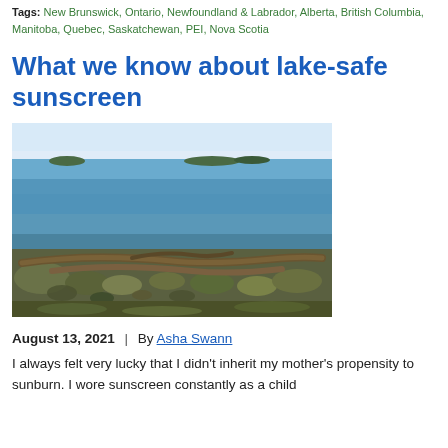Tags: New Brunswick, Ontario, Newfoundland & Labrador, Alberta, British Columbia, Manitoba, Quebec, Saskatchewan, PEI, Nova Scotia
What we know about lake-safe sunscreen
[Figure (photo): Photo of a lake shoreline with driftwood logs and mossy rocks in the foreground, calm blue water and small islands visible in the background under a light blue sky.]
August 13, 2021  |  By Asha Swann
I always felt very lucky that I didn't inherit my mother's propensity to sunburn. I wore sunscreen constantly as a child